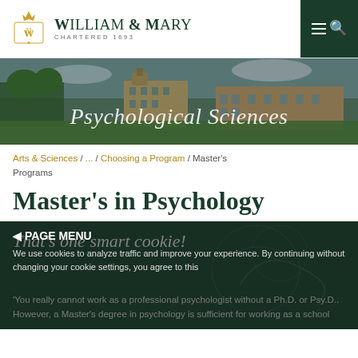WILLIAM & MARY CHARTERED 1693
[Figure (photo): Aerial/campus photo of William & Mary buildings with trees and lawn, with 'Psychological Sciences' text overlay]
Arts & Sciences / ... / Choosing a Program / Master's Programs
Master's in Psychology
That's one smart cookie!
We use cookies to analyze traffic and improve your experience. By continuing without changing your cookie settings, you agree to this
You really cannot work as a professional psychologist without a Ph.D. or Psy.D.. However, a Master's degree in psychology is sufficient for working as a school